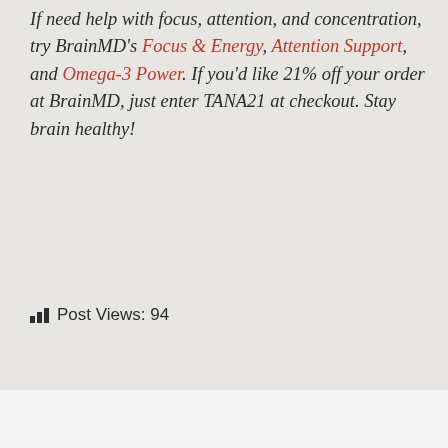If need help with focus, attention, and concentration, try BrainMD's Focus & Energy, Attention Support, and Omega-3 Power. If you'd like 21% off your order at BrainMD, just enter TANA21 at checkout. Stay brain healthy!
Post Views: 94